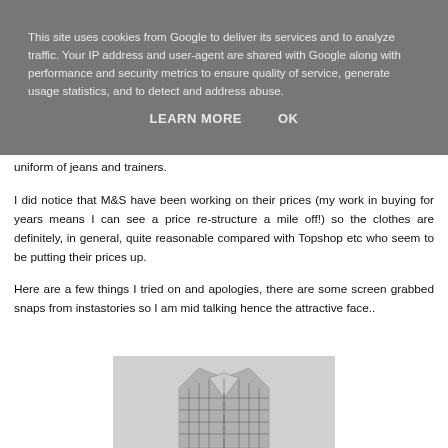This site uses cookies from Google to deliver its services and to analyze traffic. Your IP address and user-agent are shared with Google along with performance and security metrics to ensure quality of service, generate usage statistics, and to detect and address abuse.
LEARN MORE    OK
uniform of jeans and trainers.
I did notice that M&S have been working on their prices (my work in buying for years means I can see a price re-structure a mile off!) so the clothes are definitely, in general, quite reasonable compared with Topshop etc who seem to be putting their prices up.
Here are a few things I tried on and apologies, there are some screen grabbed snaps from instastories so I am mid talking hence the attractive face..
[Figure (photo): Product photo of a checkered/gingham shirt on a light grey background, partially cropped at bottom of page]